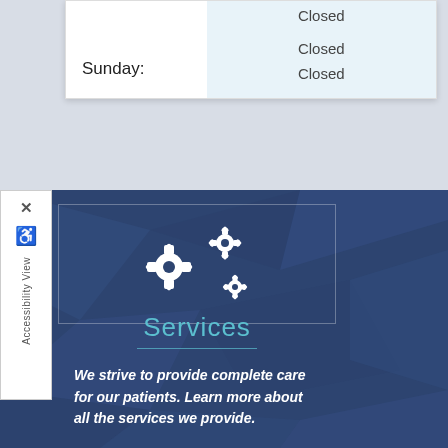| Day | Hours |
| --- | --- |
|  | Closed |
| Sunday: | Closed |
|  | Closed |
[Figure (screenshot): Accessibility View sidebar with close button (X), wheelchair icon, and rotated 'Accessibility View' text label]
[Figure (illustration): Three white gear/cog icons on dark blue polygon background representing services]
Services
We strive to provide complete care for our patients. Learn more about all the services we provide.